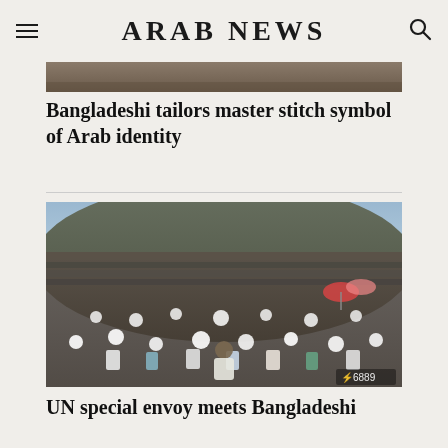ARAB NEWS
[Figure (photo): Partial top strip of a photo article image (cropped at top of page)]
Bangladeshi tailors master stitch symbol of Arab identity
[Figure (photo): Large crowd of Rohingya people gathered outdoors on a hillside, mostly men wearing white caps, in Bangladesh]
UN special envoy meets Bangladeshi